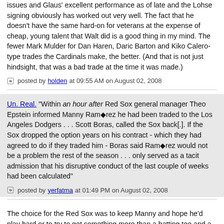issues and Glaus' excellent performance as of late and the Lohse signing obviously has worked out very well. The fact that he doesn't have the same hard-on for veterans at the expense of cheap, young talent that Walt did is a good thing in my mind. The fewer Mark Mulder for Dan Haren, Daric Barton and Kiko Calero-type trades the Cardinals make, the better. (And that is not just hindsight, that was a bad trade at the time it was made.)
posted by holden at 09:55 AM on August 02, 2008
Un. Real. "Within an hour after Red Sox general manager Theo Epstein informed Manny Ram◆rez he had been traded to the Los Angeles Dodgers . . . Scott Boras, called the Sox back[.]. If the Sox dropped the option years on his contract - which they had agreed to do if they traded him - Boras said Ram◆rez would not be a problem the rest of the season . . . only served as a tacit admission that his disruptive conduct of the last couple of weeks had been calculated"
posted by yerfatma at 01:49 PM on August 02, 2008
The choice for the Red Sox was to keep Manny and hope he'd play hard or to try to get something more than a batting tee and a bag of used baseballs. As it turns out, they get a quality outfielder in Jason Bay and give the other 24 players on the team, the coaching staff, Terry Francona, and Theo Epstein a huge amount of peace of mind. Hansen and Moss were a steep price, but unless the team decided to tank the rest of the season due to Manny's distractions, it was the best they could do. Had Boston refused to